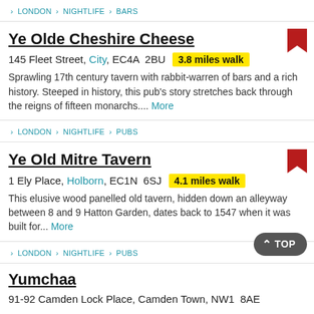LONDON > NIGHTLIFE > BARS
Ye Olde Cheshire Cheese
145 Fleet Street, City, EC4A 2BU  3.8 miles walk
Sprawling 17th century tavern with rabbit-warren of bars and a rich history. Steeped in history, this pub's story stretches back through the reigns of fifteen monarchs.... More
LONDON > NIGHTLIFE > PUBS
Ye Old Mitre Tavern
1 Ely Place, Holborn, EC1N 6SJ  4.1 miles walk
This elusive wood panelled old tavern, hidden down an alleyway between 8 and 9 Hatton Garden, dates back to 1547 when it was built for... More
LONDON > NIGHTLIFE > PUBS
Yumchaa
91-92 Camden Lock Place, Camden Town, NW1 8AE